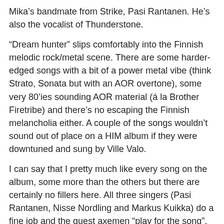Mika's bandmate from Strike, Pasi Rantanen. He's also the vocalist of Thunderstone.
"Dream hunter" slips comfortably into the Finnish melodic rock/metal scene. There are some harder-edged songs with a bit of a power metal vibe (think Strato, Sonata but with an AOR overtone), some very 80'ies sounding AOR material (á la Brother Firetribe) and there's no escaping the Finnish melancholia either. A couple of the songs wouldn't sound out of place on a HIM album if they were downtuned and sung by Ville Valo.
I can say that I pretty much like every song on the album, some more than the others but there are certainly no fillers here. All three singers (Pasi Rantanen, Nisse Nordling and Markus Kuikka) do a fine job and the guest axemen "play for the song", as they say.
A couple of the songs I want to mention: "Starlight" is my favourite song of the album, thanks to its' glorious melodies and huge, anthemic chorus. The album's big ballad "80's Love Song" is a curious one; Pasi Rantanen manages to